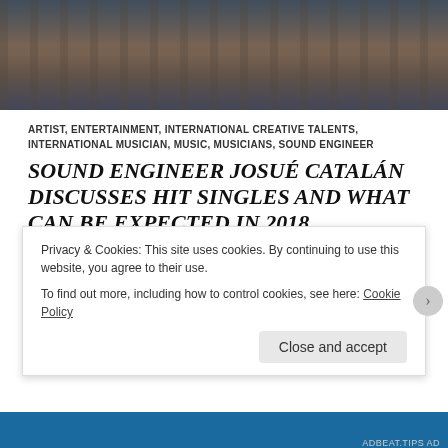[Figure (photo): Concert hall or auditorium interior with rows of seats, warm lighting, banner image at top of article]
ARTIST, ENTERTAINMENT, INTERNATIONAL CREATIVE TALENTS, INTERNATIONAL MUSICIAN, MUSIC, MUSICIANS, SOUND ENGINEER
SOUND ENGINEER JOSUÉ CATALÁN DISCUSSES HIT SINGLES AND WHAT CAN BE EXPECTED IN 2018
DECEMBER 30, 2017   ASHLEY BOWER   LEAVE A COMMENT
To this day, somewhere just over 1,250 micro-genres of popular music have been named. They've played a huge role i...  s...
Privacy & Cookies: This site uses cookies. By continuing to use this website, you agree to their use.
To find out more, including how to control cookies, see here: Cookie Policy